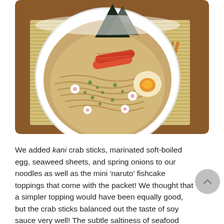[Figure (photo): A white bowl of ramen noodles topped with kani crab sticks, a marinated soft-boiled egg, triangular seaweed sheets, spring onions, and mini naruto fishcake slices, served on a bamboo mat with chopsticks on a wooden table.]
We added kani crab sticks, marinated soft-boiled egg, seaweed sheets, and spring onions to our noodles as well as the mini 'naruto' fishcake toppings that come with the packet! We thought that a simpler topping would have been equally good, but the crab sticks balanced out the taste of soy sauce very well! The subtle saltiness of seafood